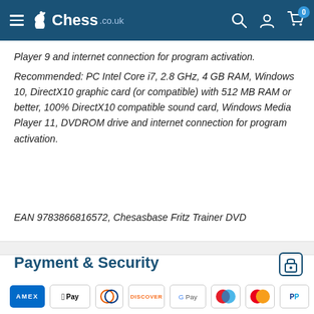Chess.co.uk
Player 9 and internet connection for program activation. Recommended: PC Intel Core i7, 2.8 GHz, 4 GB RAM, Windows 10, DirectX10 graphic card (or compatible) with 512 MB RAM or better, 100% DirectX10 compatible sound card, Windows Media Player 11, DVDROM drive and internet connection for program activation.
EAN 9783866816572, Chesasbase Fritz Trainer DVD
Payment & Security
[Figure (logo): Payment method icons: AMEX, Apple Pay, Diners Club, Discover, Google Pay, Maestro, Mastercard, PayPal, Visa]